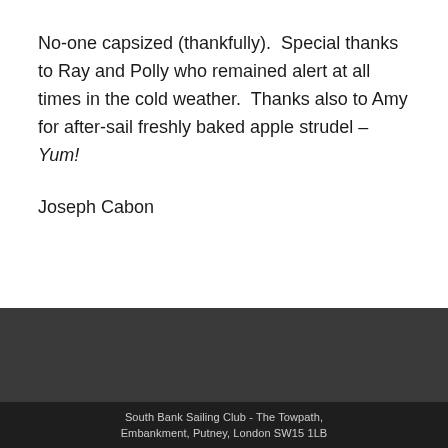No-one capsized (thankfully).  Special thanks to Ray and Polly who remained alert at all times in the cold weather.  Thanks also to Amy for after-sail freshly baked apple strudel – Yum!
Joseph Cabon
South Bank Sailing Club - The Towpath, Embankment, Putney, London SW15 1LB